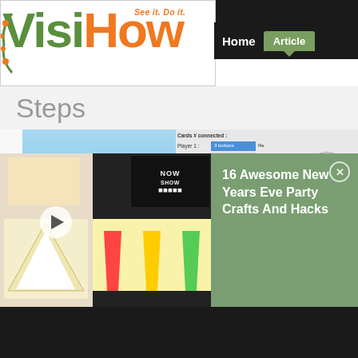[Figure (screenshot): VisiHow website screenshot showing logo with tagline 'See it. Do it.', navigation with Home and Articles buttons, Steps section header, and a tutorial page with video content and a promotional overlay for '16 Awesome New Years Eve Party Crafts And Hacks']
Steps
16 Awesome New Years Eve Party Crafts And Hacks